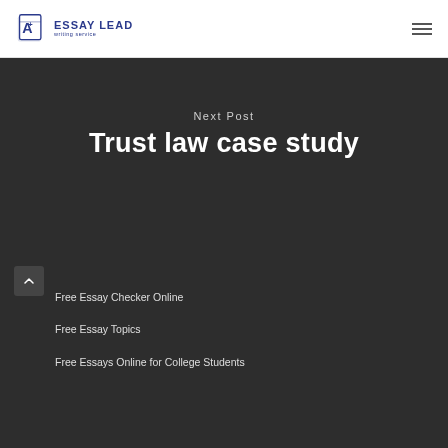ESSAY LEAD writing service
Next Post
Trust law case study
Free Essay Checker Online
Free Essay Topics
Free Essays Online for College Students